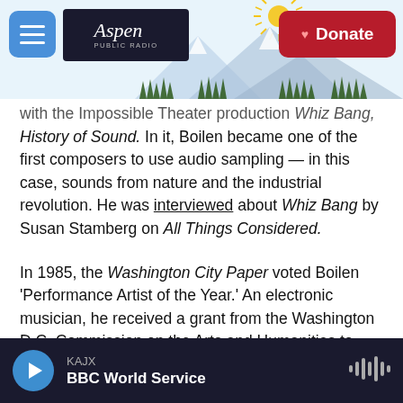Aspen Public Radio — Donate
with the Impossible Theater production Whiz Bang, A History of Sound. In it, Boilen became one of the first composers to use audio sampling — in this case, sounds from nature and the industrial revolution. He was interviewed about Whiz Bang by Susan Stamberg on All Things Considered.
In 1985, the Washington City Paper voted Boilen 'Performance Artist of the Year.' An electronic musician, he received a grant from the Washington D.C. Commission on the Arts and Humanities to work on electronic music and performance.
After Impossible Theater, Boilen worked as a producer for a television station in Washington, D.C. He produced
KAJX — BBC World Service